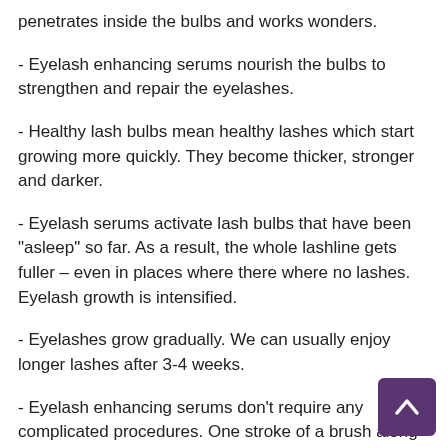- Eyelash enhancing serums nourish the bulbs to strengthen and repair the eyelashes.
- Healthy lash bulbs mean healthy lashes which start growing more quickly. They become thicker, stronger and darker.
- Eyelash serums activate lash bulbs that have been "asleep" so far. As a result, the whole lashline gets fuller – even in places where there where no lashes. Eyelash growth is intensified.
- Eyelashes grow gradually. We can usually enjoy longer lashes after 3-4 weeks.
- Eyelash enhancing serums don't require any complicated procedures. One stroke of a brush along the lashline is enough.